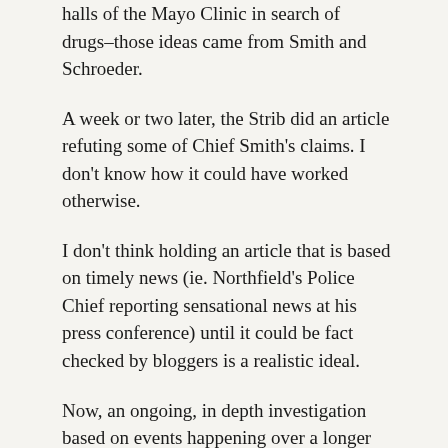halls of the Mayo Clinic in search of drugs–those ideas came from Smith and Schroeder.
A week or two later, the Strib did an article refuting some of Chief Smith's claims. I don't know how it could have worked otherwise.
I don't think holding an article that is based on timely news (ie. Northfield's Police Chief reporting sensational news at his press conference) until it could be fact checked by bloggers is a realistic ideal.
Now, an ongoing, in depth investigation based on events happening over a longer period of time could be helped by the blogosphere.